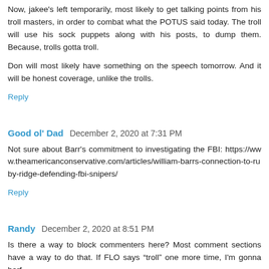Now, jakee's left temporarily, most likely to get talking points from his troll masters, in order to combat what the POTUS said today. The troll will use his sock puppets along with his posts, to dump them. Because, trolls gotta troll.
Don will most likely have something on the speech tomorrow. And it will be honest coverage, unlike the trolls.
Reply
Good ol' Dad  December 2, 2020 at 7:31 PM
Not sure about Barr's commitment to investigating the FBI: https://www.theamericanconservative.com/articles/william-barrs-connection-to-ruby-ridge-defending-fbi-snipers/
Reply
Randy  December 2, 2020 at 8:51 PM
Is there a way to block commenters here? Most comment sections have a way to do that. If FLO says “troll” one more time, I'm gonna barf.